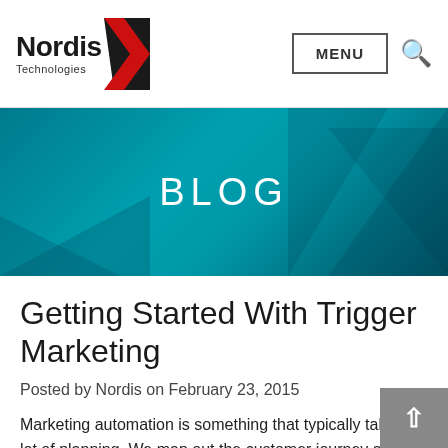[Figure (logo): Nordis Technologies logo with red chevron/arrow graphic on the right side of the text]
MENU
[Figure (illustration): Teal/cyan hero banner with geometric diagonal shapes and the word BLOG in white uppercase letters]
Getting Started With Trigger Marketing
Posted by Nordis on February 23, 2015
Marketing automation is something that typically takes a lot of planning. We map out the customer journey and decide which communication will be sent out at various